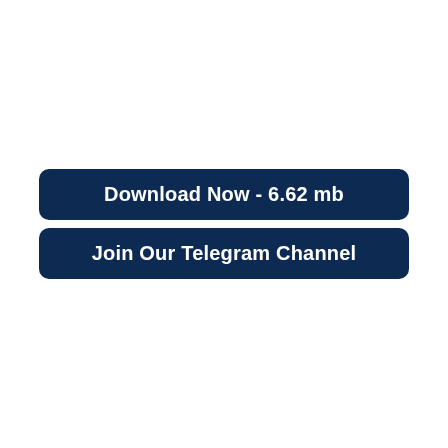Download Now - 6.62 mb
Join Our Telegram Channel